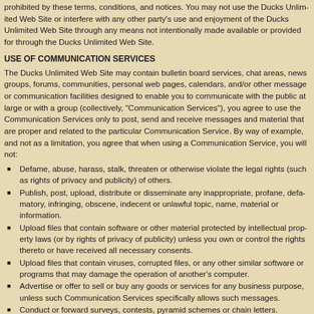prohibited by these terms, conditions, and notices. You may not use the Ducks Unlimited Web Site or interfere with any other party's use and enjoyment of the Ducks Unlimited Web Site through any means not intentionally made available or provided for through the Ducks Unlimited Web Site.
USE OF COMMUNICATION SERVICES
The Ducks Unlimited Web Site may contain bulletin board services, chat areas, news groups, forums, communities, personal web pages, calendars, and/or other message or communication facilities designed to enable you to communicate with the public at large or with a group (collectively, "Communication Services"), you agree to use the Communication Services only to post, send and receive messages and material that are proper and related to the particular Communication Service. By way of example, and not as a limitation, you agree that when using a Communication Service, you will not:
Defame, abuse, harass, stalk, threaten or otherwise violate the legal rights (such as rights of privacy and publicity) of others.
Publish, post, upload, distribute or disseminate any inappropriate, profane, defamatory, infringing, obscene, indecent or unlawful topic, name, material or information.
Upload files that contain software or other material protected by intellectual property laws (or by rights of privacy of publicity) unless you own or control the rights thereto or have received all necessary consents.
Upload files that contain viruses, corrupted files, or any other similar software or programs that may damage the operation of another's computer.
Advertise or offer to sell or buy any goods or services for any business purpose, unless such Communication Services specifically allows such messages.
Conduct or forward surveys, contests, pyramid schemes or chain letters.
Download any file posted by another user of a Communication Service that you know, or reasonably should know, cannot be legally distributed in such manner.
Falsify or delete any author attributions, legal or other proper notices or proprietary designations or labels of the origin or source of software or other material contained in a file that is uploaded.
Restrict or inhibit any other user from using and enjoying the Communication Services.
Violate any code of conduct or other guidelines which may be applicable for any particular Communication Service.
Harvest or otherwise collect information about others, including e-mail addresses, without their consent.
Violate any applicable laws or regulations.
Ducks Unlimited has no obligation to monitor the Communication Services. However, Ducks Unlimited reserves the right to review materials posted to a Communication Service and to remove any materials in its sole discretion. Ducks Unlimited reserves the right to terminate your access to any or all of the Communication Services at any time without notice for any reason whatsoever.
Ducks Unlimited reserves the right at all times to disclose any information as necessary to satisfy any applicable law, regulation, legal process or governmental request, or to edit, refuse to post or to remove any information or materials, in whole or in part, in Ducks Unlimited's sole discretion.